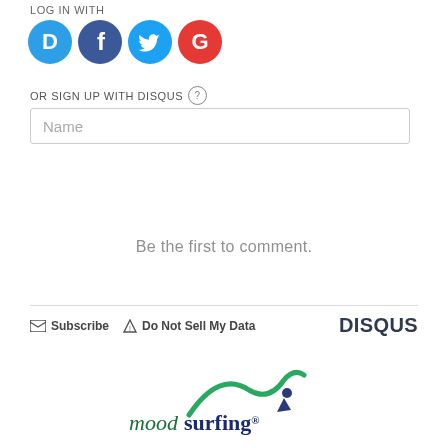LOG IN WITH
[Figure (logo): Four social login icons: Disqus (blue speech bubble with D), Facebook (dark blue circle with f), Twitter (light blue circle with bird), Google (red circle with G)]
OR SIGN UP WITH DISQUS ?
Name
Be the first to comment.
Subscribe  Do Not Sell My Data    DISQUS
[Figure (logo): Moodsurfing logo with green wave and surfer silhouette, text reads 'mood surfing']